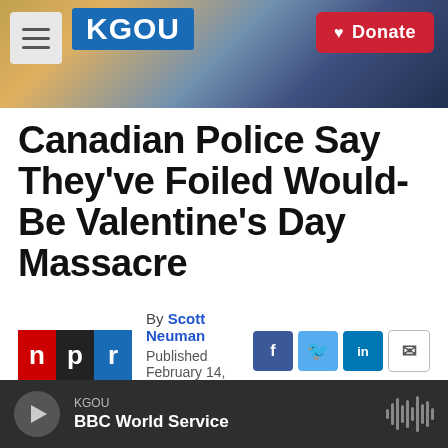KGOU — Donate
Canadian Police Say They've Foiled Would-Be Valentine's Day Massacre
By Scott Neuman
Published February 14, 2015 at 9:52 AM CST
KGOU — BBC World Service